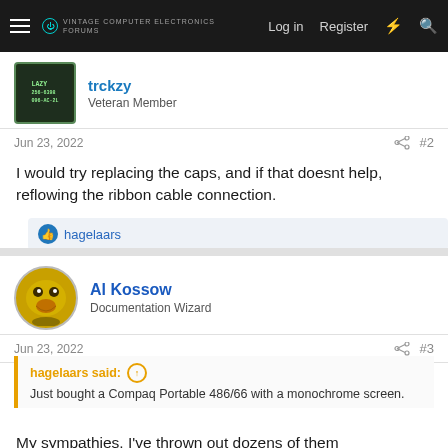Log in  Register
trckzy
Veteran Member
Jun 23, 2022  #2
I would try replacing the caps, and if that doesnt help, reflowing the ribbon cable connection.
hagelaars
Al Kossow
Documentation Wizard
Jun 23, 2022  #3
hagelaars said:
Just bought a Compaq Portable 486/66 with a monochrome screen.
My sympathies. I've thrown out dozens of them (Monochrome